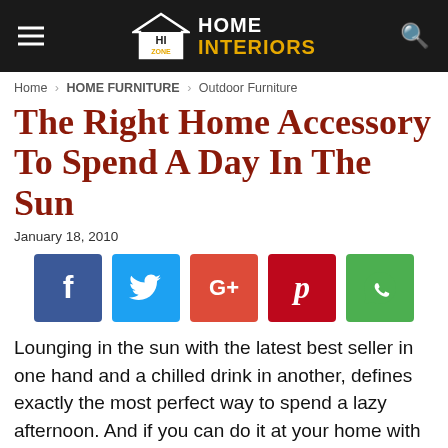HOME INTERIORS ZONE
Home › HOME FURNITURE › Outdoor Furniture
The Right Home Accessory To Spend A Day In The Sun
January 18, 2010
[Figure (infographic): Social share buttons: Facebook (blue), Twitter (light blue), Google+ (red-orange), Pinterest (dark red), WhatsApp (green)]
Lounging in the sun with the latest best seller in one hand and a chilled drink in another, defines exactly the most perfect way to spend a lazy afternoon. And if you can do it at your home with the right summer deck furniture, nothing could possibly beat that.